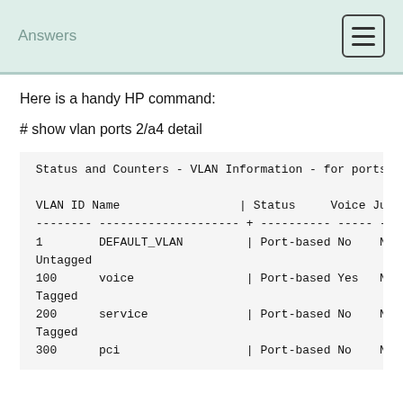Answers
Here is a handy HP command:
# show vlan ports 2/a4 detail
| VLAN ID | Name | Status | Voice | Jumbo | Mode |
| --- | --- | --- | --- | --- | --- |
| 1 | DEFAULT_VLAN | | Port-based | No | No | Untagged |
| 100 | voice | | Port-based | Yes | No | Tagged |
| 200 | service | | Port-based | No | No | Tagged |
| 300 | pci | | Port-based | No | No |  |